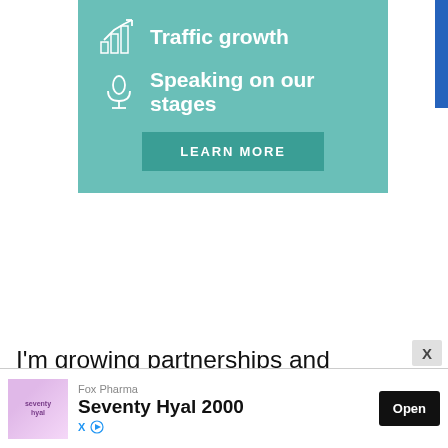[Figure (infographic): Teal/green banner with two items: 'Traffic growth' with bar chart icon and 'Speaking on our stages' with microphone icon, plus a 'LEARN MORE' dark teal button]
I'm growing partnerships and expanding my reach. I always knew this was essential, but with the right people. Partnering with the right people who have skills, products and services that compliment mine.
What are your goals for the next few months and how are you striving to
[Figure (infographic): Advertisement banner: Fox Pharma Seventy Hyal 2000 product ad with pink/purple logo and Open button]